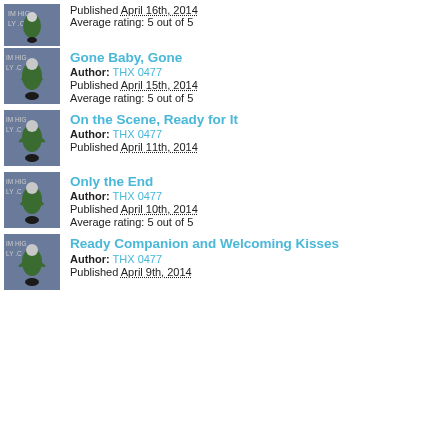Published April 16th, 2014
Average rating: 5 out of 5
Gone Baby, Gone
Author: THX 0477
Published April 15th, 2014
Average rating: 5 out of 5
On the Scene, Ready for It
Author: THX 0477
Published April 11th, 2014
Only the End
Author: THX 0477
Published April 10th, 2014
Average rating: 5 out of 5
Ready Companion and Welcoming Kisses
Author: THX 0477
Published April 9th, 2014